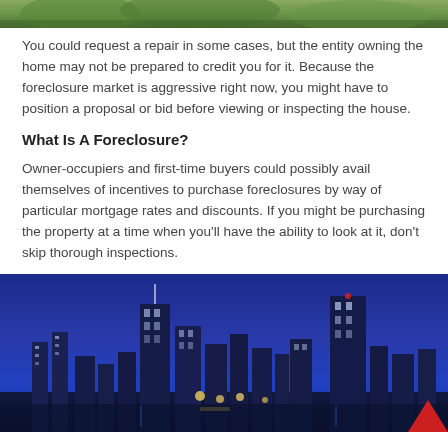[Figure (photo): Top portion of a photo, likely showing a house or property exterior with green foliage visible]
You could request a repair in some cases, but the entity owning the home may not be prepared to credit you for it. Because the foreclosure market is aggressive right now, you might have to position a proposal or bid before viewing or inspecting the house.
What Is A Foreclosure?
Owner-occupiers and first-time buyers could possibly avail themselves of incentives to purchase foreclosures by way of particular mortgage rates and discounts. If you might be purchasing the property at a time when you'll have the ability to look at it, don't skip thorough inspections.
[Figure (photo): Nighttime cityscape photo showing tall illuminated skyscrapers against a deep blue sky, city lights below]